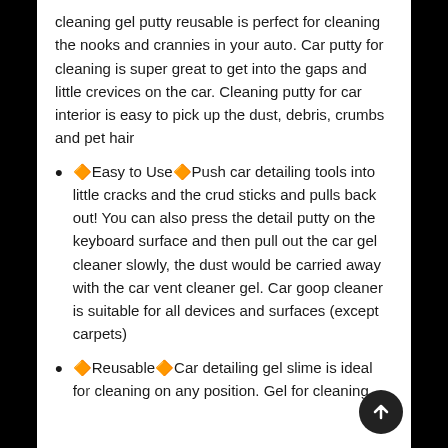cleaning gel putty reusable is perfect for cleaning the nooks and crannies in your auto. Car putty for cleaning is super great to get into the gaps and little crevices on the car. Cleaning putty for car interior is easy to pick up the dust, debris, crumbs and pet hair
🔶Easy to Use🔶Push car detailing tools into little cracks and the crud sticks and pulls back out! You can also press the detail putty on the keyboard surface and then pull out the car gel cleaner slowly, the dust would be carried away with the car vent cleaner gel. Car goop cleaner is suitable for all devices and surfaces (except carpets)
🔶Reusable🔶Car detailing gel slime is ideal for cleaning on any position. Gel for cleaning